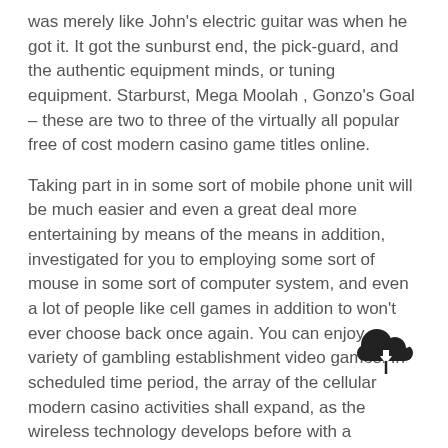was merely like John's electric guitar was when he got it. It got the sunburst end, the pick-guard, and the authentic equipment minds, or tuning equipment. Starburst, Mega Moolah , Gonzo's Goal – these are two to three of the virtually all popular free of cost modern casino game titles online.
Taking part in in some sort of mobile phone unit will be much easier and even a great deal more entertaining by means of the means in addition, investigated for you to employing some sort of mouse in some sort of computer system, and even a lot of people like cell games in addition to won't ever choose back once again. You can enjoy a variety of gambling establishment video games. In scheduled time period, the array of the cellular modern casino activities shall expand, as the wireless technology develops before with a swiftness certainly not found, so the modern casino mobile or portable competitors won't be tired as the cellular activities coders are fantastically artistic.
[Figure (illustration): Cloud with upward arrow upload icon, dark/black filled]
I just may well see changes in grinding solutions, with farmers receiving instantaneous records on climate and land disorders